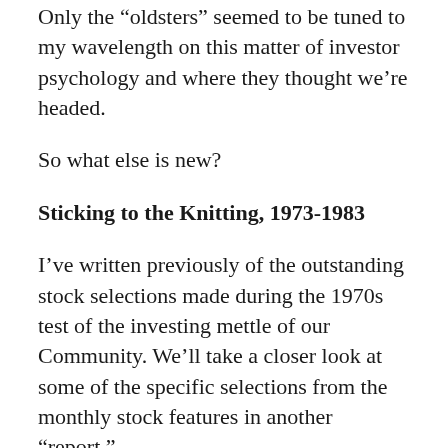Only the “oldsters” seemed to be tuned to my wavelength on this matter of investor psychology and where they thought we’re headed.
So what else is new?
Sticking to the Knitting, 1973-1983
I’ve written previously of the outstanding stock selections made during the 1970s test of the investing mettle of our Community. We’ll take a closer look at some of the specific selections from the monthly stock features in another “report.”
I’ve also written about the virtues of investing regularly in carefully chosen stocks. Much is